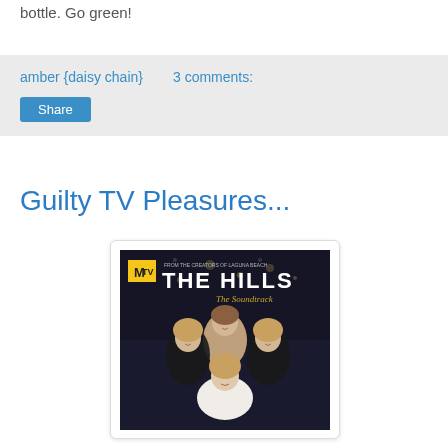bottle. Go green!
amber {daisy chain}    3 comments:
Share
Guilty TV Pleasures...
[Figure (photo): Album cover for 'The Hills: The Soundtrack' on MTV, showing four young women posed together against a dark background with city lights. Text reads: FROM THE CREATORS OF LAGUNA BEACH, MTV, THE HILLS, The Soundtrack.]